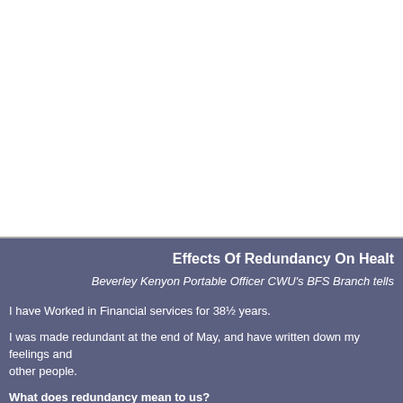Effects Of Redundancy On Health
Beverley Kenyon Portable Officer CWU's BFS Branch tells
I have Worked in Financial services for 38½ years.
I was made redundant at the end of May, and have written down my feelings and other people.
What does redundancy mean to us?